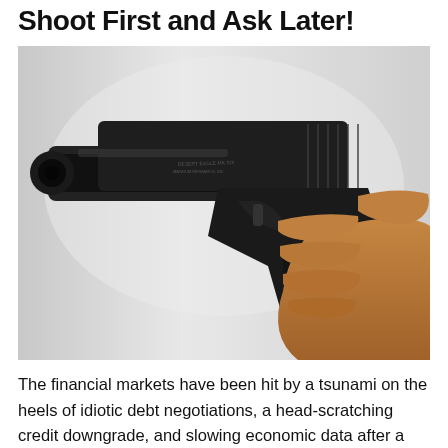Shoot First and Ask Later!
[Figure (photo): A hand gripping a large black semi-automatic handgun (Desert Eagle style), pointing the barrel toward the viewer against a light gray gradient background.]
The financial markets have been hit by a tsunami on the heels of idiotic debt negotiations, a head-scratching credit downgrade, and slowing economic data after a wallet-